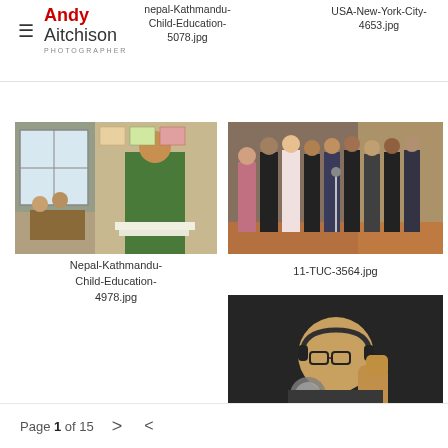Andy Aitchison PHOTOGRAPHER
nepal-Kathmandu-Child-Education-5078.jpg
USA-New-York-City-4653.jpg
[Figure (photo): A teacher in a sari sitting at a desk in a Nepalese classroom with children]
Nepal-Kathmandu-Child-Education-4978.jpg
[Figure (photo): Group of people standing in a room, some holding papers, recording or rehearsing]
11-TUC-3564.jpg
[Figure (photo): Elderly man with headphones and raised fist at a microphone]
Page 1 of 15